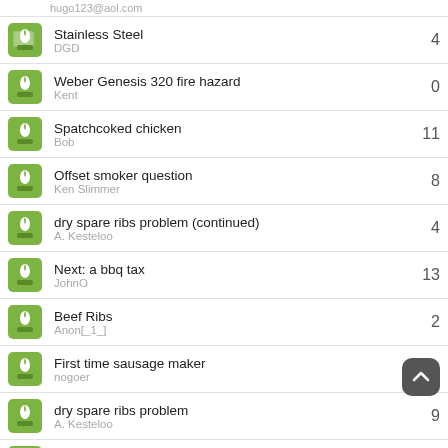hugo123@aol.com
Stainless Steel
DGD
4
Weber Genesis 320 fire hazard
Kent
0
Spatchcoked chicken
Bob
11
Offset smoker question
Ken Slimmer
8
dry spare ribs problem (continued)
A. Kesteloo
4
Next: a bbq tax
JohnO
13
Beef Ribs
Anon[_1_]
2
First time sausage maker
nogoer
+
dry spare ribs problem
A. Kesteloo
9
The Minion Method 1 2 3 4 5 … Last Page)
114